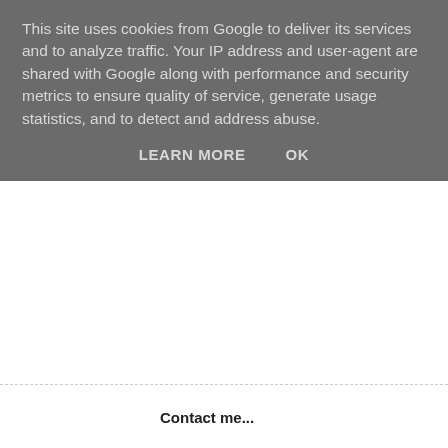This site uses cookies from Google to deliver its services and to analyze traffic. Your IP address and user-agent are shared with Google along with performance and security metrics to ensure quality of service, generate usage statistics, and to detect and address abuse.
LEARN MORE    OK
Contact me...